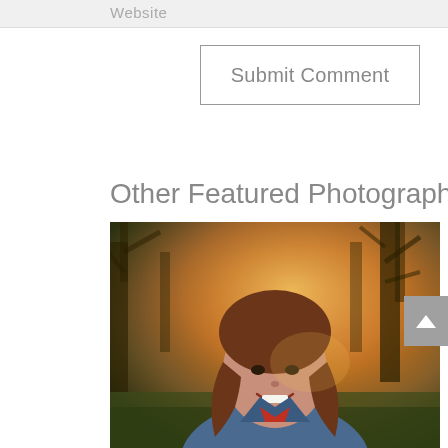Website
Submit Comment
Other Featured Photographers
[Figure (photo): Portrait photo of a smiling young woman with long brown hair wearing a denim jacket, photographed outdoors at golden hour with trees and warm bokeh background.]